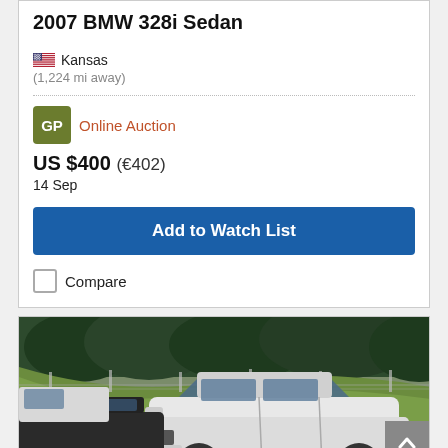2007 BMW 328i Sedan
Kansas
(1,224 mi away)
Online Auction
US $400 (€402)
14 Sep
Add to Watch List
Compare
[Figure (photo): Photo of a white sedan (2007 BMW 328i) parked in a lot with other vehicles, chain-link fence and grassy hill in background.]